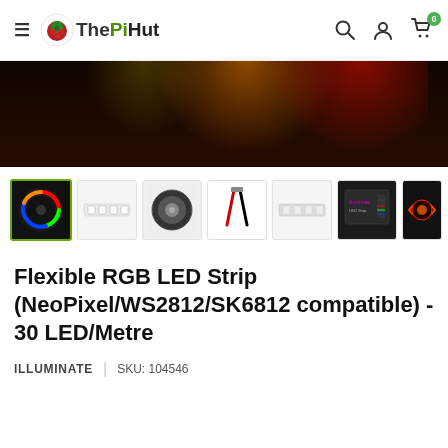The PiHut — navigation bar with hamburger menu, logo, search, account, and cart icons
[Figure (photo): Hero image showing LED strip lighting effects on a dark background with orange, yellow, and red colored light projections]
[Figure (photo): Thumbnail gallery showing 7 product images: glowing LED strip ring, white PCB strip, spool of LED strip, connector wires, clear strip, product box, and close-up of lit strip]
Flexible RGB LED Strip (NeoPixel/WS2812/SK6812 compatible) - 30 LED/Metre
ILLUMINATE  |  SKU: 104546